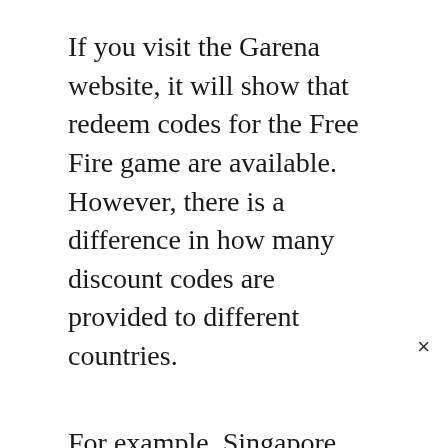If you visit the Garena website, it will show that redeem codes for the Free Fire game are available. However, there is a difference in how many discount codes are provided to different countries.
For example, Singapore players get three redeem codes while Indonesia players get 15. It appears that even though both countries have 10 million registered users